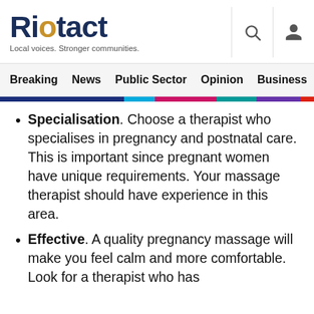Riotact — Local voices. Stronger communities.
Breaking  News  Public Sector  Opinion  Business  R
Specialisation. Choose a therapist who specialises in pregnancy and postnatal care. This is important since pregnant women have unique requirements. Your massage therapist should have experience in this area.
Effective. A quality pregnancy massage will make you feel calm and more comfortable. Look for a therapist who has